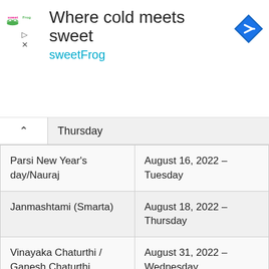[Figure (logo): sweetFrog ad banner with logo, tagline 'Where cold meets sweet', and navigation arrow icon]
| Holiday | Date |
| --- | --- |
| Parsi New Year's day/Nauraj | August 16, 2022 – Tuesday |
| Janmashtami (Smarta) | August 18, 2022 – Thursday |
| Vinayaka Chaturthi / Ganesh Chaturthi | August 31, 2022 – Wednesday |
| Onam or Thiru Onam Day | September 08, 2022 – Thursday |